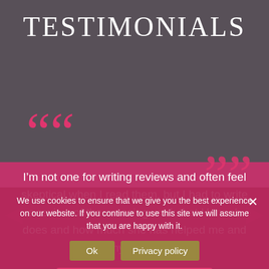TESTIMONIALS
““
I’m not one for writing reviews and often feel skeptical when I read them, but I had to write a review of the amazing work that Hannah does and how much she has helped me and my family.
We use cookies to ensure that we give you the best experience on our website. If you continue to use this site we will assume that you are happy with it.
Ok   Privacy policy
READ MORE ›